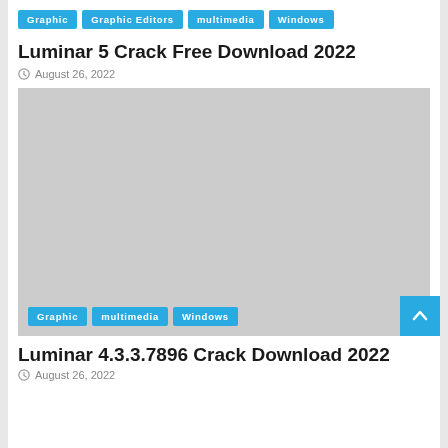Graphic | Graphic Editors | multimedia | Windows
Luminar 5 Crack Free Download 2022
August 26, 2022
[Figure (photo): Placeholder gray image for Luminar 5 article with category tags: Graphic, multimedia, Windows overlaid at bottom left]
Luminar 4.3.3.7896 Crack Download 2022
August 26, 2022